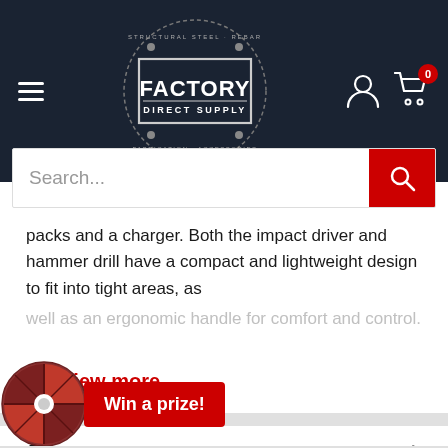Factory Direct Supply
[Figure (logo): Factory Direct Supply circular logo with dashed border]
packs and a charger. Both the impact driver and hammer drill have a compact and lightweight design to fit into tight areas, as well as an ergonomic handle for comfort and control.
+ View more
Coupons
[Figure (illustration): Spin-to-win wheel with Win a prize! button]